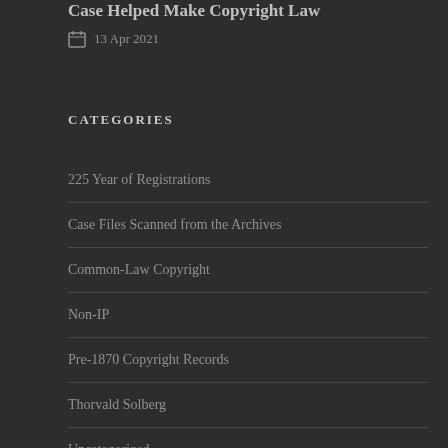Case Helped Make Copyright Law
13 Apr 2021
CATEGORIES
225 Year of Registrations
Case Files Scanned from the Archives
Common-Law Copyright
Non-IP
Pre-1870 Copyright Records
Thorvald Solberg
Uncategorized